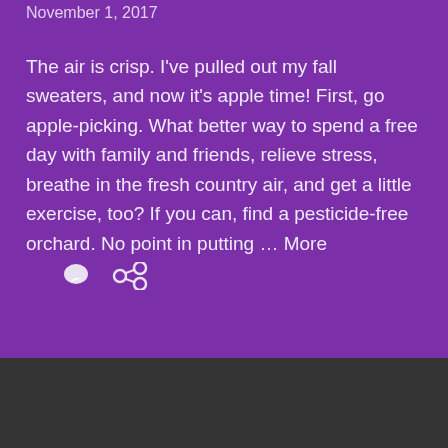November 1, 2017
The air is crisp. I've pulled out my fall sweaters, and now it's apple time! First, go apple-picking. What better way to spend a free day with family and friends, relieve stress, breathe in the fresh country air, and get a little exercise, too? If you can, find a pesticide-free orchard. No point in putting … More
About Blogs